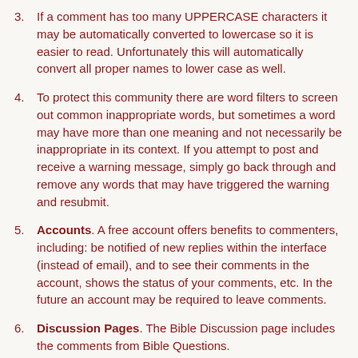3. If a comment has too many UPPERCASE characters it may be automatically converted to lowercase so it is easier to read. Unfortunately this will automatically convert all proper names to lower case as well.
4. To protect this community there are word filters to screen out common inappropriate words, but sometimes a word may have more than one meaning and not necessarily be inappropriate in its context. If you attempt to post and receive a warning message, simply go back through and remove any words that may have triggered the warning and resubmit.
5. Accounts. A free account offers benefits to commenters, including: be notified of new replies within the interface (instead of email), and to see their comments in the account, shows the status of your comments, etc. In the future an account may be required to leave comments.
6. Discussion Pages. The Bible Discussion page includes the comments from Bible Questions.